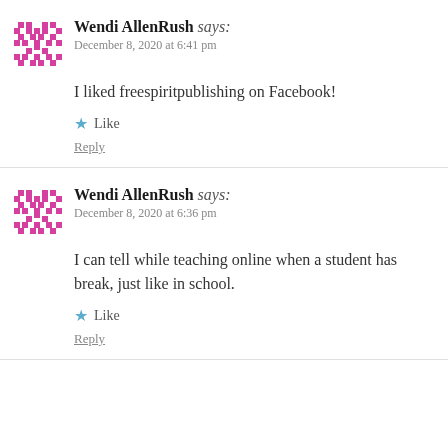Wendi AllenRush says: December 8, 2020 at 6:41 pm
I liked freespiritpublishing on Facebook!
Like
Reply
Wendi AllenRush says: December 8, 2020 at 6:36 pm
I can tell while teaching online when a student has break, just like in school.
Like
Reply